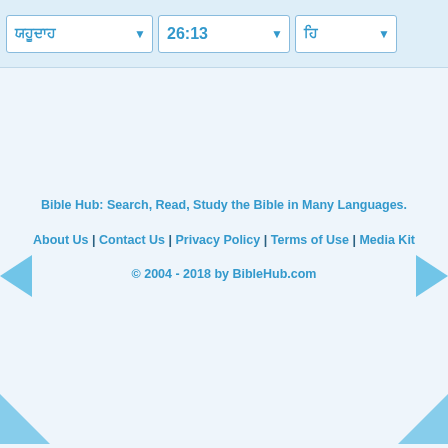ਯਹੂਦਾਹ  26:13  ਹਿ
Bible Hub: Search, Read, Study the Bible in Many Languages.
About Us | Contact Us | Privacy Policy | Terms of Use | Media Kit
© 2004 - 2018 by BibleHub.com